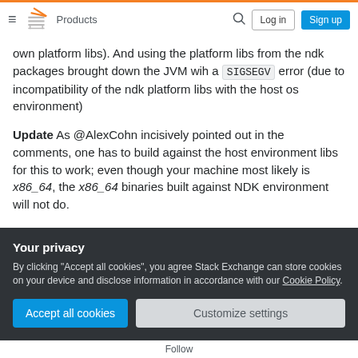≡ [Stack Overflow logo] Products 🔍 Log in Sign up
own platform libs). And using the platform libs from the ndk packages brought down the JVM wih a SIGSEGV error (due to incompatibility of the ndk platform libs with the host os environment)
Update As @AlexCohn incisively pointed out in the comments, one has to build against the host environment libs for this to work; even though your machine most likely is x86_64, the x86_64 binaries built against NDK environment will not do.
There may be something I overlooked, obviously,
Your privacy
By clicking "Accept all cookies", you agree Stack Exchange can store cookies on your device and disclose information in accordance with our Cookie Policy.
Accept all cookies   Customize settings
Follow